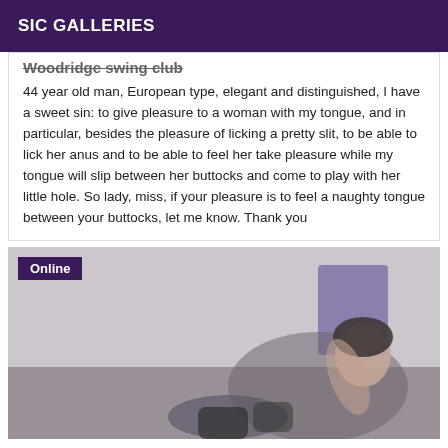SIC GALLERIES
Woodridge swing club
44 year old man, European type, elegant and distinguished, I have a sweet sin: to give pleasure to a woman with my tongue, and in particular, besides the pleasure of licking a pretty slit, to be able to lick her anus and to be able to feel her take pleasure while my tongue will slip between her buttocks and come to play with her little hole. So lady, miss, if your pleasure is to feel a naughty tongue between your buttocks, let me know. Thank you
[Figure (photo): Woman posing on a couch, with an 'Online' badge in the top left corner]